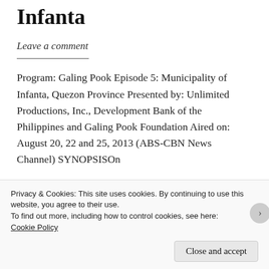Infanta
Leave a comment
Program: Galing Pook Episode 5: Municipality of Infanta, Quezon Province Presented by: Unlimited Productions, Inc., Development Bank of the Philippines and Galing Pook Foundation Aired on: August 20, 22 and 25, 2013 (ABS-CBN News Channel) SYNOPSISOn
Privacy & Cookies: This site uses cookies. By continuing to use this website, you agree to their use.
To find out more, including how to control cookies, see here: Cookie Policy